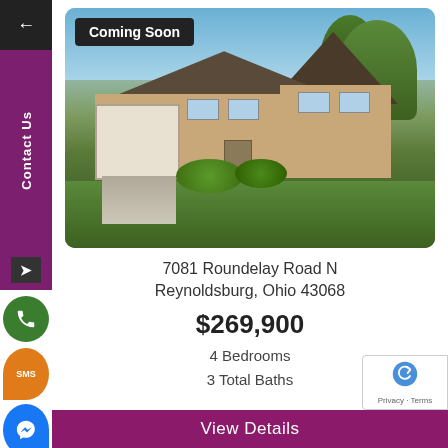[Figure (photo): Exterior photo of a two-story brick and siding home with attached garage, green lawn, shrubs, and blue sky. Labeled 'Coming Soon'.]
7081 Roundelay Road N
Reynoldsburg, Ohio 43068
$269,900
4 Bedrooms
3 Total Baths
View Details